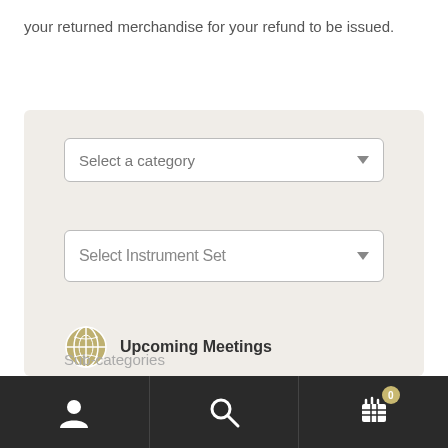your returned merchandise for your refund to be issued.
[Figure (screenshot): Dropdown UI element labeled 'Select a category' with a downward arrow, on a light beige background panel]
[Figure (screenshot): Dropdown UI element labeled 'Select Instrument Set' with a downward arrow]
[Figure (screenshot): Upcoming Meetings section with globe/meetings icon and bold label]
Sub-categories
[Figure (screenshot): Bottom navigation bar with user icon, search icon, and shopping cart icon with badge showing 0]